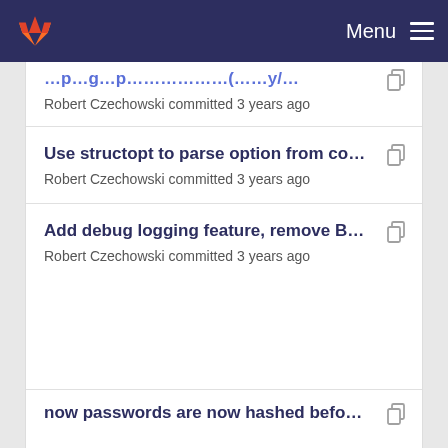GitLab — Menu
Robert Czechowski committed 3 years ago
Use structopt to parse option from commandline, ...
Robert Czechowski committed 3 years ago
Add debug logging feature, remove BadRequest ...
Robert Czechowski committed 3 years ago
now passwords are now hashed before they are s...